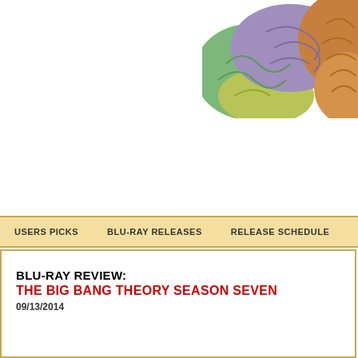[Figure (logo): Website logo with large letter C and a horizontal rule]
[Figure (illustration): Colorful anatomical brain illustration, partially cropped at top-right corner]
USERS PICKS   BLU-RAY RELEASES   RELEASE SCHEDULE   REV...
BLU-RAY REVIEW:
THE BIG BANG THEORY SEASON SEVEN
09/13/2014